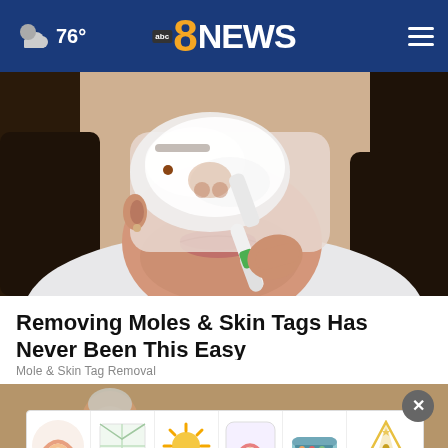76° abc8NEWS
[Figure (photo): Woman applying white cream/shaving cream to her face with a green and white razor/toothbrush-like tool, wearing a patterned white top, dark hair, close-up of lower face]
Removing Moles & Skin Tags Has Never Been This Easy
Mole & Skin Tag Removal
[Figure (photo): Bottom section showing a child partially visible, with an advertisement strip showing colorful illustrated items: rainbow plate, greenhouse, sun, rainbow sticker, pencil case, and Tiny Lands logo]
[Figure (infographic): Advertisement banner with colorful illustrated children's items from Tiny Lands brand]